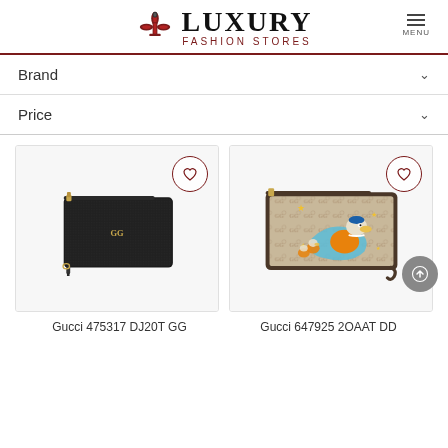[Figure (logo): Luxury Fashion Stores logo with fleur-de-lis icon, LUXURY in large serif text, FASHION STORES in small caps below, and a hamburger menu icon with MENU label on the right]
Brand ∨
Price ∨
[Figure (photo): Black Gucci leather wristlet clutch bag with gold GG logo and wrist strap]
[Figure (photo): Gucci x Disney GG Supreme canvas wristlet clutch with Donald Duck and nephews cartoon illustration]
Gucci 475317 DJ20T GG
Gucci 647925 2OAAT DD